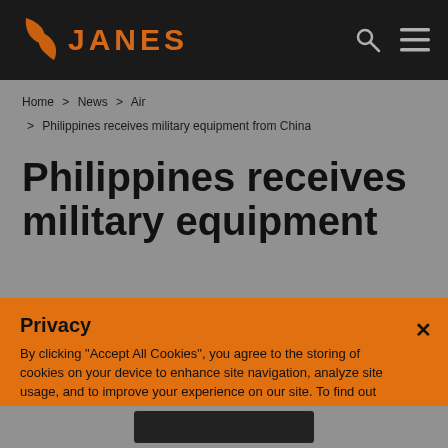JANES
Home > News > Air > Philippines receives military equipment from China
Philippines receives military equipment
Privacy
By clicking "Accept All Cookies", you agree to the storing of cookies on your device to enhance site navigation, analyze site usage, and to improve your experience on our site. To find out more read our Privacy Policy.